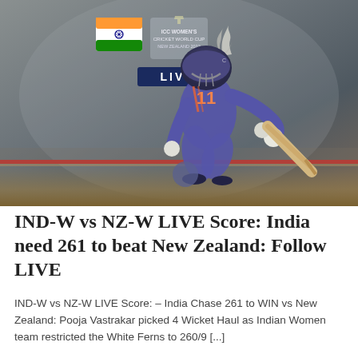[Figure (photo): A female Indian cricket player batting during a Women's Cricket World Cup match, wearing blue India kit and helmet, mid-shot playing stroke. ICC Women's Cricket World Cup overlay with India flag, NZ silver fern logo, and a LIVE badge visible.]
IND-W vs NZ-W LIVE Score: India need 261 to beat New Zealand: Follow LIVE
IND-W vs NZ-W LIVE Score: – India Chase 261 to WIN vs New Zealand: Pooja Vastrakar picked 4 Wicket Haul as Indian Women team restricted the White Ferns to 260/9 [...]